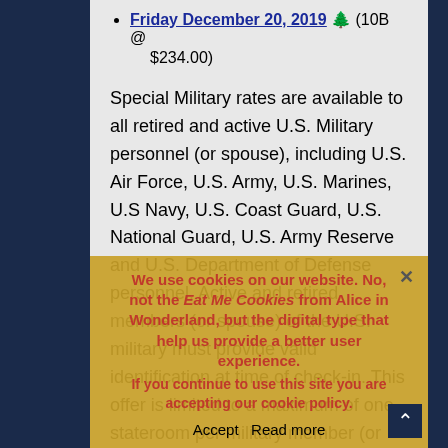Friday December 20, 2019 🌲 (10B @ $234.00)
Special Military rates are available to all retired and active U.S. Military personnel (or spouse), including U.S. Air Force, U.S. Army, U.S. Marines, U.S Navy, U.S. Coast Guard, U.S. National Guard, U.S. Army Reserve and U.S. Department of Defense personnel. Active and retired members (or spouse) of the U.S. military must provide valid identification at time of check-in. This offer is limited to a maximum of one stateroom per military member (or spouse), per sailing. A U.S. Military service member (or spouse) is required to sail to take advantage of this offer. Activated members (or spouse) of the U.S. National Guard or the U.S. Army Reserve must also show active duty orders (active duty papers must be dated as of January 1st of the previous year to qualify).
We use cookies on our website. No, not the Eat Me Cookies from Alice in Wonderland, but the digital type that help us provide a better user experience. If you continue to use this site you are accepting our cookie policy. Accept Read more